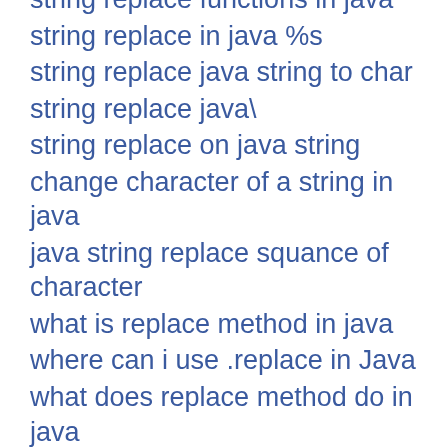string replace functions in java
string replace in java %s
string replace java string to char
string replace java\
string replace on java string
change character of a string in java
java string replace squance of character
what is replace method in java
where can i use .replace in Java
what does replace method do in java
java string replace character "\"
change a character in a string in java
java String replace at char
what can replace java